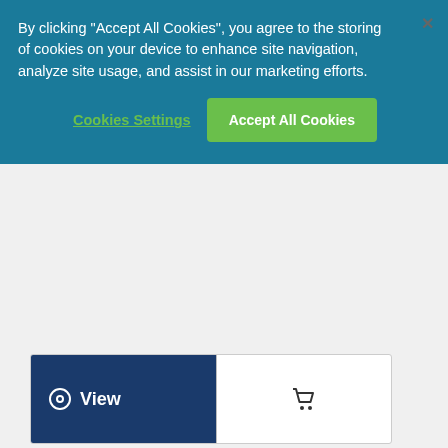By clicking "Accept All Cookies", you agree to the storing of cookies on your device to enhance site navigation, analyze site usage, and assist in our marketing efforts.
Cookies Settings
Accept All Cookies
[Figure (screenshot): View button with eye icon (blue background) and shopping cart icon button on white background]
[Figure (photo): Close-up photo of a metallic flexible spiral duct/conduit pipe, showing the corrugated ridged surface in grayscale]